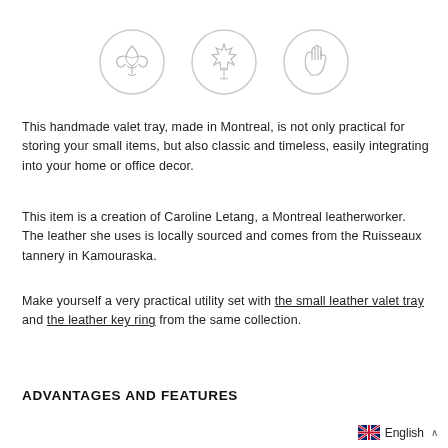[Figure (illustration): Three circular icons in a row: a fleur-de-lis symbol, a maple leaf symbol, and a hand waving symbol, all drawn as thin outlines on white circles with light grey borders.]
This handmade valet tray, made in Montreal, is not only practical for storing your small items, but also classic and timeless, easily integrating into your home or office decor.
This item is a creation of Caroline Letang, a Montreal leatherworker. The leather she uses is locally sourced and comes from the Ruisseaux tannery in Kamouraska.
Make yourself a very practical utility set with the small leather valet tray and the leather key ring from the same collection.
ADVANTAGES AND FEATURES
English